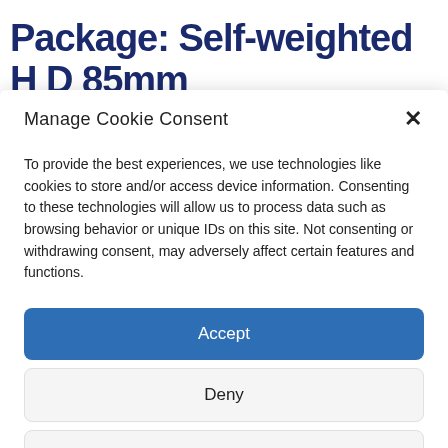Package: Self-weighted H D 85mm
Manage Cookie Consent
To provide the best experiences, we use technologies like cookies to store and/or access device information. Consenting to these technologies will allow us to process data such as browsing behavior or unique IDs on this site. Not consenting or withdrawing consent, may adversely affect certain features and functions.
Accept
Deny
View preferences
Privacy Statement   Privacy Statement